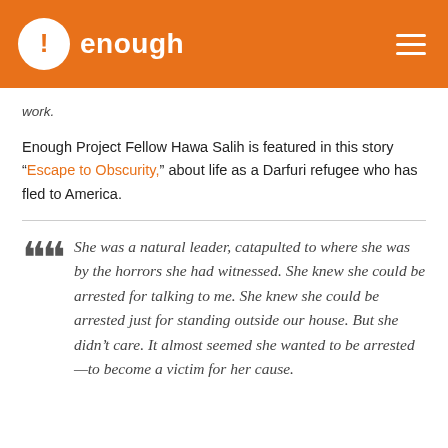enough
work.
Enough Project Fellow Hawa Salih is featured in this story “Escape to Obscurity,” about life as a Darfuri refugee who has fled to America.
She was a natural leader, catapulted to where she was by the horrors she had witnessed. She knew she could be arrested for talking to me. She knew she could be arrested just for standing outside our house. But she didn’t care. It almost seemed she wanted to be arrested—to become a victim for her cause.